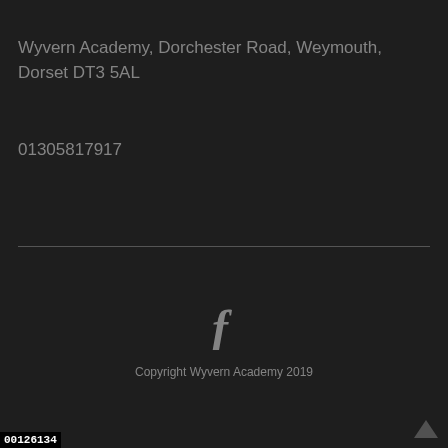Wyvern Academy, Dorchester Road, Weymouth, Dorset DT3 5AL
01305817917
[Figure (illustration): Facebook social media icon letter f]
Copyright Wyvern Academy 2019
00126134